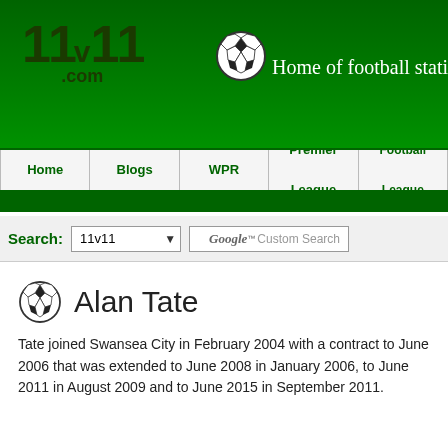[Figure (logo): 11v11.com football statistics website logo with soccer ball icon and tagline 'Home of football statistics ar...']
Home | Blogs | WPR | Premier League | Football League
Search: 11v11 [dropdown] Google Custom Search
Alan Tate
Tate joined Swansea City in February 2004 with a contract to June 2006 that was extended to June 2008 in January 2006, to June 2011 in August 2009 and to June 2015 in September 2011.
Club history